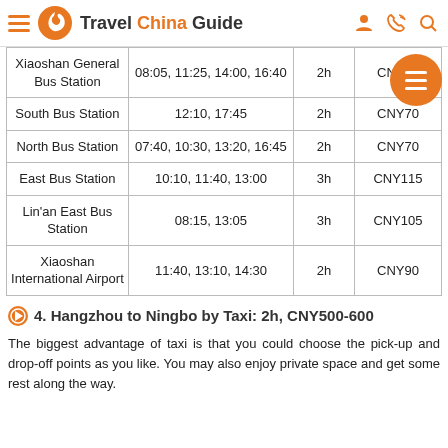Travel China Guide
|  | Departure Times | Duration | Price |
| --- | --- | --- | --- |
| Xiaoshan General Bus Station | 08:05, 11:25, 14:00, 16:40 | 2h | CNY62 |
| South Bus Station | 12:10, 17:45 | 2h | CNY70 |
| North Bus Station | 07:40, 10:30, 13:20, 16:45 | 2h | CNY70 |
| East Bus Station | 10:10, 11:40, 13:00 | 3h | CNY115 |
| Lin'an East Bus Station | 08:15, 13:05 | 3h | CNY105 |
| Xiaoshan International Airport | 11:40, 13:10, 14:30 | 2h | CNY90 |
4. Hangzhou to Ningbo by Taxi: 2h, CNY500-600
The biggest advantage of taxi is that you could choose the pick-up and drop-off points as you like. You may also enjoy private space and get some rest along the way.